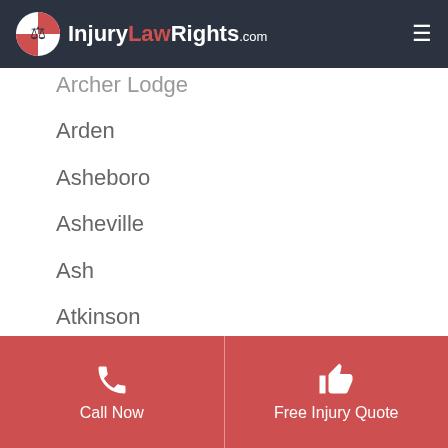InjuryLawRights.com
Archer Lodge
Arden
Asheboro
Asheville
Ash
Atkinson
Atlantic Beach
Atlantic
Aulander
Call Now | Free Injury Quote